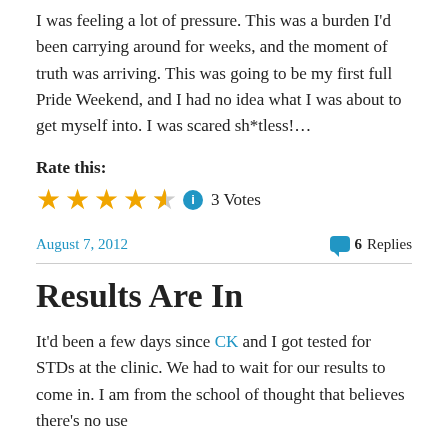I was feeling a lot of pressure. This was a burden I'd been carrying around for weeks, and the moment of truth was arriving. This was going to be my first full Pride Weekend, and I had no idea what I was about to get myself into. I was scared sh*tless!…
Rate this:
★★★★½  ⓘ  3 Votes
August 7, 2012
6 Replies
Results Are In
It'd been a few days since CK and I got tested for STDs at the clinic. We had to wait for our results to come in. I am from the school of thought that believes there's no use